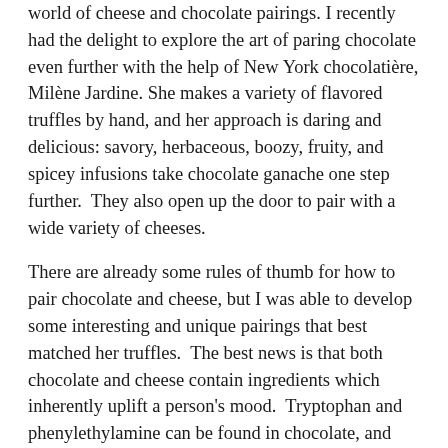world of cheese and chocolate pairings. I recently had the delight to explore the art of paring chocolate even further with the help of New York chocolatière, Milène Jardine. She makes a variety of flavored truffles by hand, and her approach is daring and delicious: savory, herbaceous, boozy, fruity, and spicey infusions take chocolate ganache one step further.  They also open up the door to pair with a wide variety of cheeses.
There are already some rules of thumb for how to pair chocolate and cheese, but I was able to develop some interesting and unique pairings that best matched her truffles.  The best news is that both chocolate and cheese contain ingredients which inherently uplift a person's mood.  Tryptophan and phenylethylamine can be found in chocolate, and tyrosine can be found in cheese. You can read more about the qualities and chemistry of each food in my pairing guide here.
I asked Milène to go into detail about her vision as a chocolatièr. I find there are always parallels within